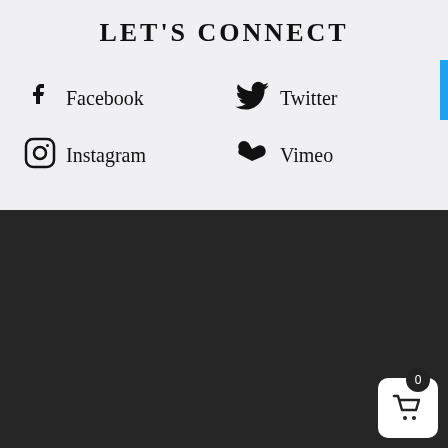LET'S CONNECT
Facebook
Twitter
Instagram
Vimeo
Bible Gateway Member
[Figure (logo): Bible Gateway Blogger Grid Member badge — dark red arch shape with white Bible Gateway logo and text 'BLOGGER GRID MEMBER' on a red ribbon banner]